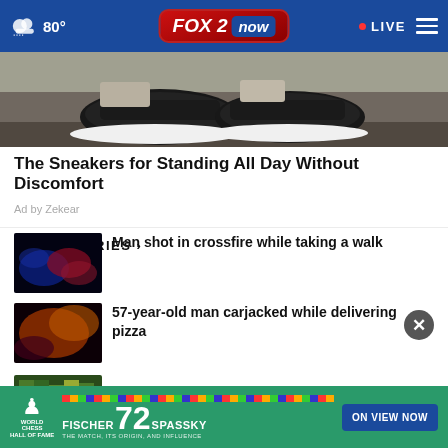FOX 2 now | 80° | LIVE
[Figure (photo): Close-up photo of black sneakers on a rocky/dirt surface]
The Sneakers for Standing All Day Without Discomfort
Ad by Zekear
MORE STORIES ›
[Figure (photo): Police lights blue and red blur - thumbnail for crossfire shooting story]
Man shot in crossfire while taking a walk
[Figure (photo): Blurry colorful lights - thumbnail for carjacking story]
57-year-old man carjacked while delivering pizza
[Figure (photo): Minecraft-style screenshot thumbnail]
Arch in Minecraft
[Figure (photo): World Chess Hall of Fame advertisement - Fischer vs Spassky, ON VIEW NOW]